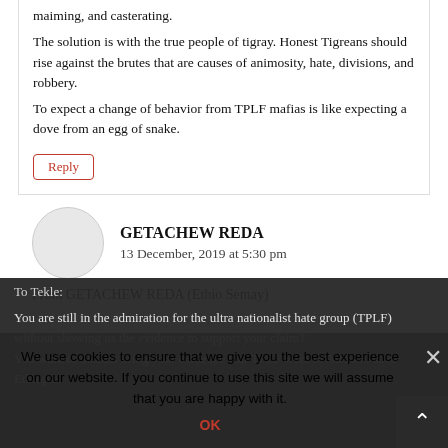maiming, and casterating.
The solution is with the true people of tigray. Honest Tigreans should rise against the brutes that are causes of animosity, hate, divisions, and robbery.
To expect a change of behavior from TPLF mafias is like expecting a dove from an egg of snake.
Reply
GETACHEW REDA
13 December, 2019 at 5:30 pm
From GETACHEW REDA (Ethio Semay)
To Tekle:
You are still in the admiration for the ultra nationalist hate group (TPLF) without showing us the evidence to support your claim?
You want to discuss bring your evidence that TPLF went to Addis to save Ethiopia.
We use cookies to ensure that we give you the best experience on our website. If you continue to use this site we will assume that you are happy with it.
OK